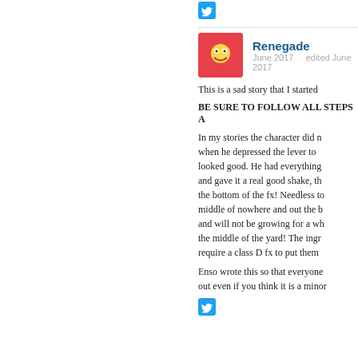[Figure (logo): Twitter bird icon, blue square]
Renegade
June 2017   edited June 2017
This is a sad story that I started
BE SURE TO FOLLOW ALL STEPS A
In my stories the character did n when he depressed the lever to looked good. He had everything and gave it a real good shake, th the bottom of the fx! Needless to middle of nowhere and out the b and will not be growing for a wh the middle of the yard! The ingr require a class D fx to put them
Enso wrote this so that everyone out even if you think it is a minor
[Figure (logo): Twitter bird icon, blue square]